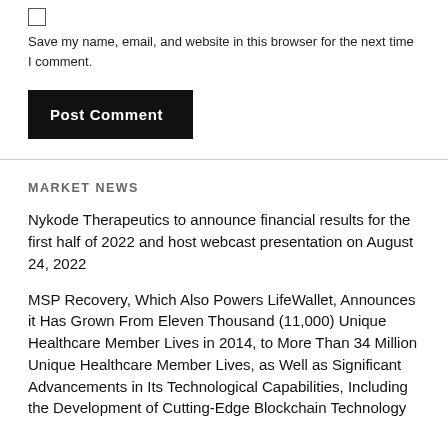Save my name, email, and website in this browser for the next time I comment.
Post Comment
MARKET NEWS
Nykode Therapeutics to announce financial results for the first half of 2022 and host webcast presentation on August 24, 2022
MSP Recovery, Which Also Powers LifeWallet, Announces it Has Grown From Eleven Thousand (11,000) Unique Healthcare Member Lives in 2014, to More Than 34 Million Unique Healthcare Member Lives, as Well as Significant Advancements in Its Technological Capabilities, Including the Development of Cutting-Edge Blockchain Technology